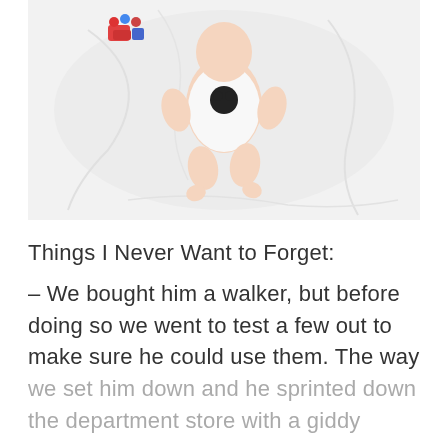[Figure (photo): Overhead view of a baby lying on a white bed/sheet, wearing a white onesie with a character graphic, photographed from above]
Things I Never Want to Forget:
– We bought him a walker, but before doing so we went to test a few out to make sure he could use them. The way we set him down and he sprinted down the department store with a giddy